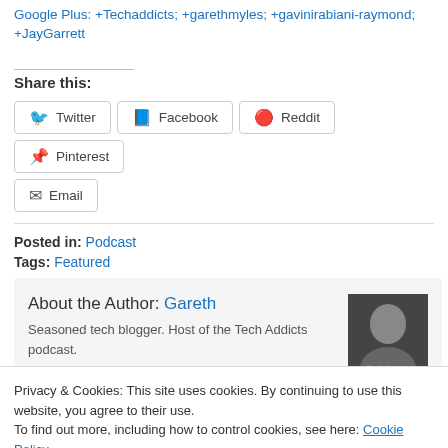Google Plus: +Techaddicts; +garethmyles; +gavinirabiani-raymond; +JayGarrett
Share this:
Twitter
Facebook
Reddit
Pinterest
Email
Posted in: Podcast
Tags: Featured
About the Author: Gareth
Seasoned tech blogger. Host of the Tech Addicts podcast.
Privacy & Cookies: This site uses cookies. By continuing to use this website, you agree to their use.
To find out more, including how to control cookies, see here: Cookie Policy